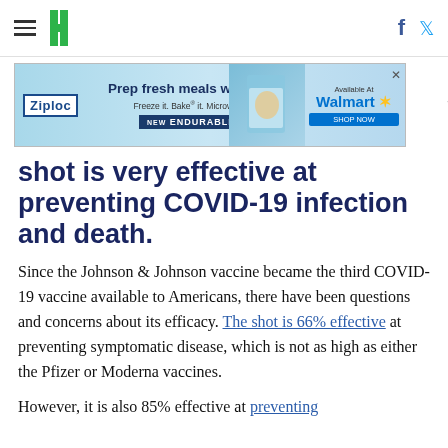HuffPost navigation with hamburger menu, logo, Facebook and Twitter icons
[Figure (other): Ziploc advertisement banner: 'Prep fresh meals with ease. Freeze it. Bake it. Microwave it. NEW ENDURABLES. Available at Walmart.']
shot is very effective at preventing COVID-19 infection and death.
Since the Johnson & Johnson vaccine became the third COVID-19 vaccine available to Americans, there have been questions and concerns about its efficacy. The shot is 66% effective at preventing symptomatic disease, which is not as high as either the Pfizer or Moderna vaccines.
However, it is also 85% effective at preventing